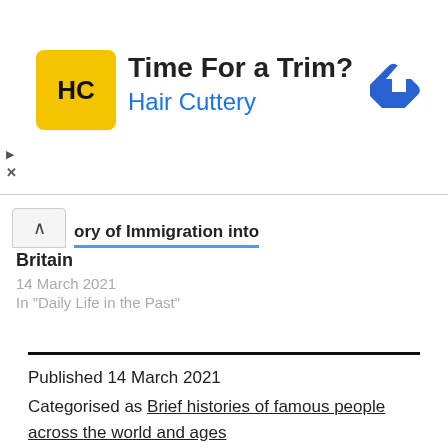[Figure (logo): Hair Cuttery advertisement banner with HC logo and arrow icon]
ory of Immigration into Britain
14 March 2021
In "Daily Life in the Past"
Published 14 March 2021
Categorised as Brief histories of famous people across the world and ages